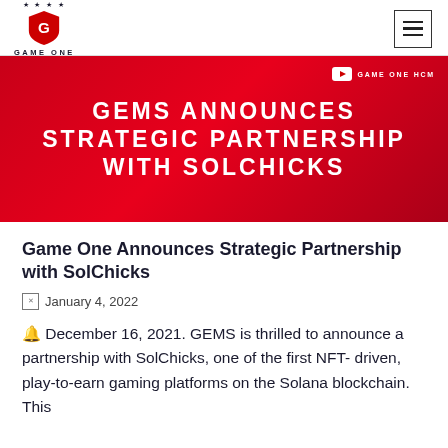GAME ONE
[Figure (illustration): Red banner with white bold text: GEMS ANNOUNCES STRATEGIC PARTNERSHIP WITH SOLCHICKS. YouTube icon and GAME ONE HCM label in top right corner.]
Game One Announces Strategic Partnership with SolChicks
January 4, 2022
🔔 December 16, 2021. GEMS is thrilled to announce a partnership with SolChicks, one of the first NFT- driven, play-to-earn gaming platforms on the Solana blockchain. This